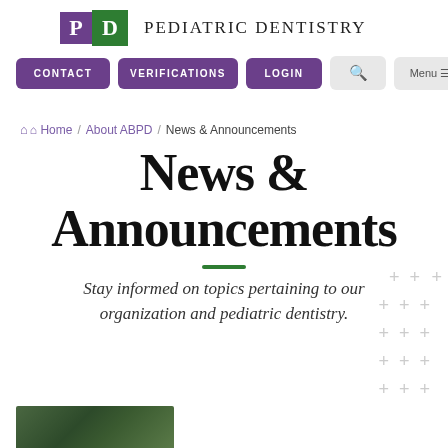PD - PEDIATRIC DENTISTRY
CONTACT | VERIFICATIONS | LOGIN | Search | Menu
Home / About ABPD / News & Announcements
News & Announcements
Stay informed on topics pertaining to our organization and pediatric dentistry.
[Figure (photo): Partial image at bottom left, appears to be a nature or outdoor photo with green tones]